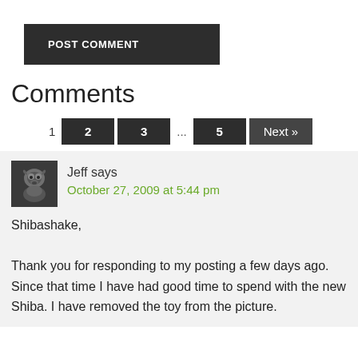[Figure (other): POST COMMENT button — dark background with white uppercase text]
Comments
[Figure (other): Pagination controls: 1, 2, 3, ..., 5, Next »]
[Figure (photo): User avatar — black and white photo of a dog (Shiba Inu)]
Jeff says October 27, 2009 at 5:44 pm
Shibashake,

Thank you for responding to my posting a few days ago. Since that time I have had good time to spend with the new Shiba. I have removed the toy from the picture.